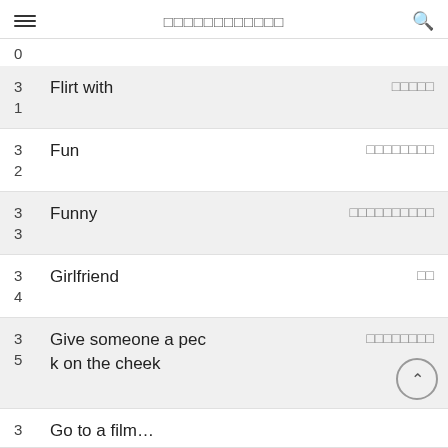□□□□□□□□□□□□
0
31  Flirt with  □□□□□
32  Fun  □□□□□□□□
33  Funny  □□□□□□□□□□
34  Girlfriend  □□
35  Give someone a peck on the cheek  □□□□□□□□
3  Go to a film...